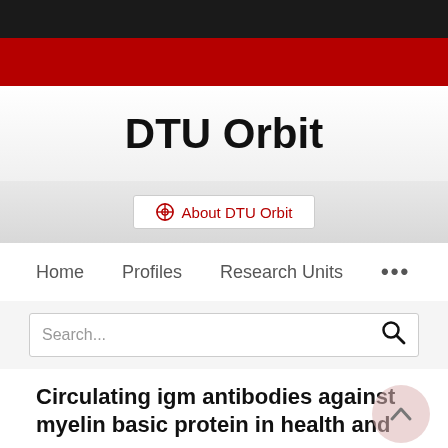DTU Orbit
About DTU Orbit
Home   Profiles   Research Units   ...
Search...
Circulating igm antibodies against myelin basic protein in health and